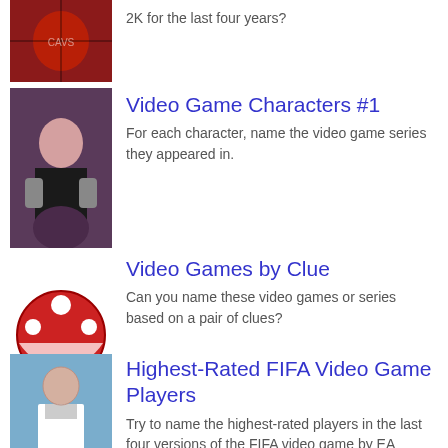2K for the last four years?
[Figure (photo): Basketball player in red jersey]
[Figure (photo): Woman holding guns in video game character costume]
Video Game Characters #1
For each character, name the video game series they appeared in.
[Figure (illustration): Red mushroom with white spots illustration (Mario-style mushroom)]
Video Games by Clue
Can you name these video games or series based on a pair of clues?
[Figure (photo): Soccer player Cristiano Ronaldo in white Real Madrid jersey]
Highest-Rated FIFA Video Game Players
Try to name the highest-rated players in the last four versions of the FIFA video game by EA Sports.
Mario Characters Quiz